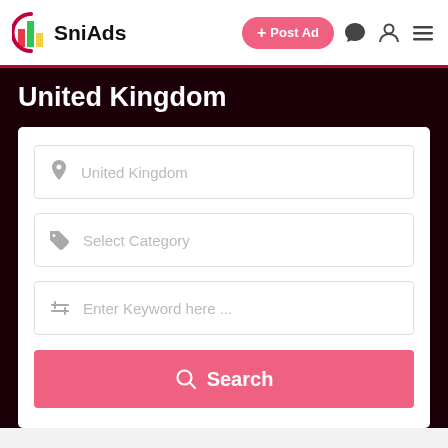SniAds — + Post Ad
United Kingdom
United Kingdom (location field)
Select Category
Enter Keyword here ...
Search